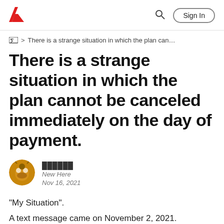Adobe  Sign In
> There is a strange situation in which the plan can…
There is a strange situation in which the plan cannot be canceled immediately on the day of payment.
██████
New Here
Nov 16, 2021
"My Situation".
A text message came on November 2, 2021.
I received a text message that the payment was not